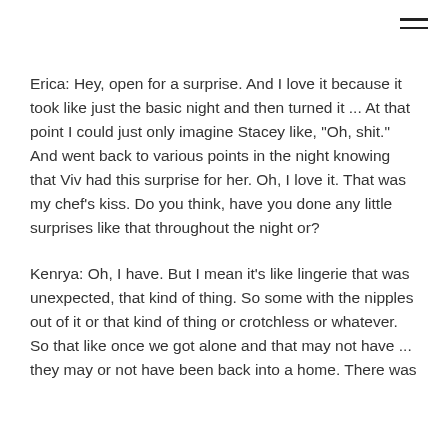Erica: Hey, open for a surprise. And I love it because it took like just the basic night and then turned it ... At that point I could just only imagine Stacey like, "Oh, shit." And went back to various points in the night knowing that Viv had this surprise for her. Oh, I love it. That was my chef's kiss. Do you think, have you done any little surprises like that throughout the night or?
Kenrya: Oh, I have. But I mean it's like lingerie that was unexpected, that kind of thing. So some with the nipples out of it or that kind of thing or crotchless or whatever. So that like once we got alone and that may not have ... they may or not have been back into a home. There was